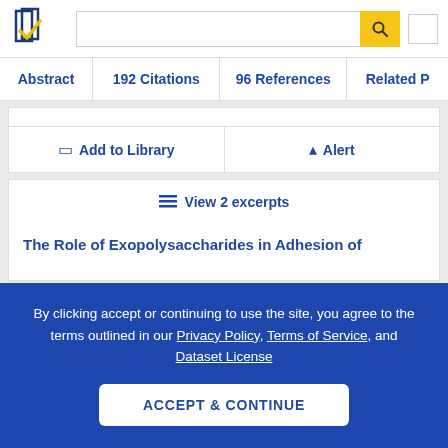[Figure (logo): Semantic Scholar logo - stylized book pages with blue and gold checkmark]
Abstract | 192 Citations | 96 References | Related P...
Add to Library
Alert
View 2 excerpts
The Role of Exopolysaccharides in Adhesion of
By clicking accept or continuing to use the site, you agree to the terms outlined in our Privacy Policy, Terms of Service, and Dataset License
ACCEPT & CONTINUE